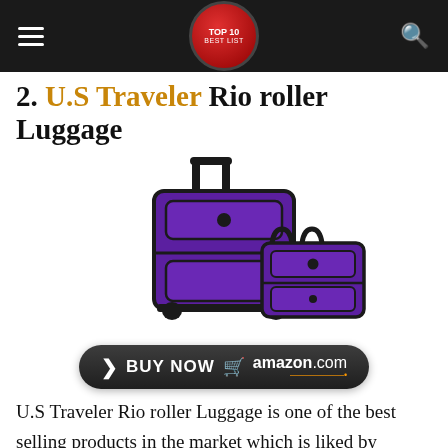Top 10 Best Lists navigation bar
2. U.S Traveler Rio roller Luggage
[Figure (photo): Purple U.S. Traveler Rio roller luggage set with a large rolling suitcase and a smaller tote bag, along with a Buy Now button linking to amazon.com]
U.S Traveler Rio roller Luggage is one of the best selling products in the market which is liked by